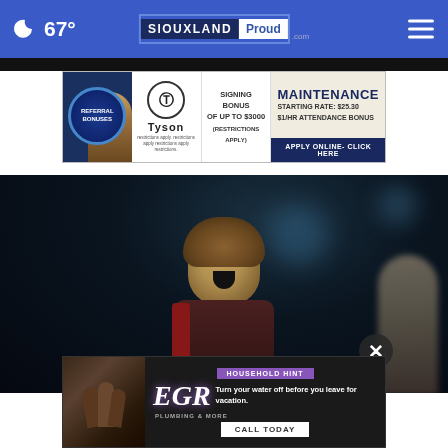67° SiouxlandProud.com
[Figure (screenshot): Tyson Foods advertisement banner: Referral Bonuses, Signing Bonus of up to $3000 (Restrictions Apply), Maintenance Starting Rate: $25.30, $1/HR Attendance Bonus, Apply Online - Click Here]
[Figure (photo): Person singing or performing, mouth open, medium brown curly hair, dark background, concert or performance setting]
[Figure (screenshot): EGR advertisement banner: Household Hint - Turn your water off before you leave for vacation. Call Today]